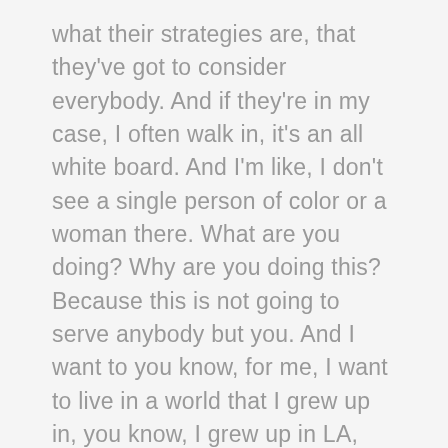what their strategies are, that they've got to consider everybody. And if they're in my case, I often walk in, it's an all white board. And I'm like, I don't see a single person of color or a woman there. What are you doing? Why are you doing this? Because this is not going to serve anybody but you. And I want to you know, for me, I want to live in a world that I grew up in, you know, I grew up in LA, right. So we were part of the first busing, you know, my mother's best friend was black. So let's just talk about this is the reality that I come from. So to move into a place or into a culture, a world where this is finally, you know, we're talking about it, and people are actually making the shift. And if you're still not making the shift, that's not good on you. So I would say shame on you. Because now is the time more than ever to really make a change and pivot in your consciousness. See what you don't know